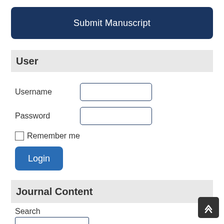Submit Manuscript
User
Username
Password
Remember me
Login
Journal Content
Search